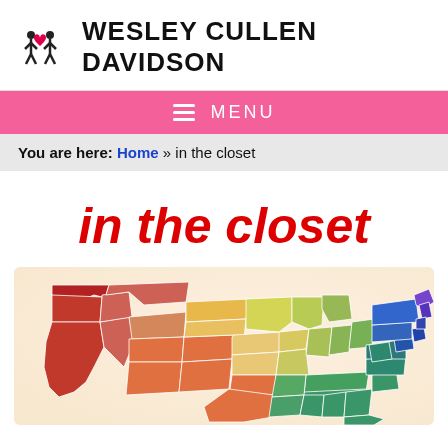WESLEY CULLEN DAVIDSON
MENU
You are here: Home » in the closet
in the closet
[Figure (map): A color-coded map of the United States showing states colored in a rainbow spectrum from red/dark-red on the West Coast through orange, yellow, green, and blue/purple on the East Coast.]